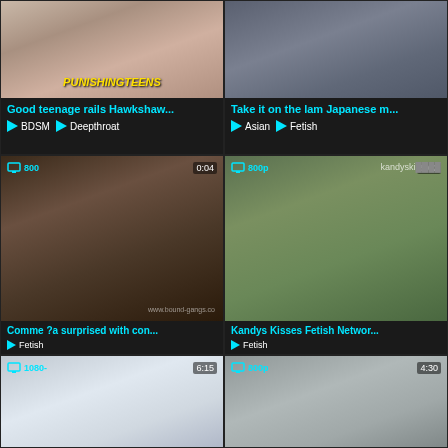[Figure (screenshot): Video thumbnail grid - adult video website with 6 video cards in 2-column layout. Top row: two video thumbnails with titles and tags. Middle row: two more video cards. Bottom row: two partial video cards.]
Good teenage rails Hawkshaw...
BDSM  Deepthroat
Take it on the lam Japanese m...
Asian  Fetish
800  0:04  Comme ?a surprised with con...  Fetish
800p  5:02  kandyski...  Kandys Kisses Fetish Networ...  Fetish
1080-  6:15
800p  4:30